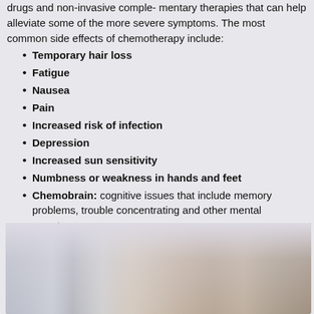drugs and non-invasive comple- mentary therapies that can help alleviate some of the more severe symptoms. The most common side effects of chemotherapy include:
Temporary hair loss
Fatigue
Nausea
Pain
Increased risk of infection
Depression
Increased sun sensitivity
Numbness or weakness in hands and feet
Chemobrain: cognitive issues that include memory problems, trouble concentrating and other mental symptoms
[Figure (photo): Blurred photo, appears to show a person or medical setting with soft beige and grey tones, cut off at bottom of page]